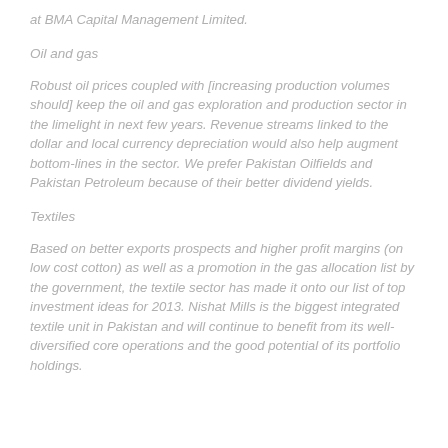at BMA Capital Management Limited.
Oil and gas
Robust oil prices coupled with [increasing production volumes should] keep the oil and gas exploration and production sector in the limelight in next few years. Revenue streams linked to the dollar and local currency depreciation would also help augment bottom-lines in the sector. We prefer Pakistan Oilfields and Pakistan Petroleum because of their better dividend yields.
Textiles
Based on better exports prospects and higher profit margins (on low cost cotton) as well as a promotion in the gas allocation list by the government, the textile sector has made it onto our list of top investment ideas for 2013. Nishat Mills is the biggest integrated textile unit in Pakistan and will continue to benefit from its well-diversified core operations and the good potential of its portfolio holdings.